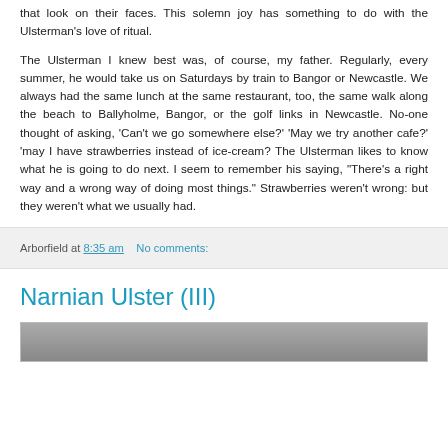that look on their faces. This solemn joy has something to do with the Ulsterman's love of ritual.
The Ulsterman I knew best was, of course, my father. Regularly, every summer, he would take us on Saturdays by train to Bangor or Newcastle. We always had the same lunch at the same restaurant, too, the same walk along the beach to Ballyholme, Bangor, or the golf links in Newcastle. No-one thought of asking, 'Can't we go somewhere else?' 'May we try another cafe?' 'may I have strawberries instead of ice-cream? The Ulsterman likes to know what he is going to do next. I seem to remember his saying, "There's a right way and a wrong way of doing most things." Strawberries weren't wrong: but they weren't what we usually had.
Arborfield at 8:35 am   No comments:
Narnian Ulster (III)
[Figure (photo): Partial image visible at bottom of page, appears to be a photograph, mostly cut off]